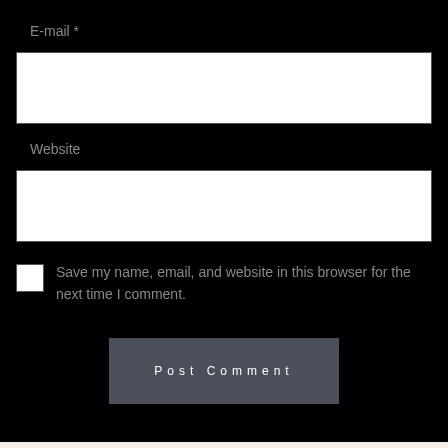E-mail *
[Figure (other): White input text field for E-mail]
Website
[Figure (other): White input text field for Website]
Save my name, email, and website in this browser for the next time I comment.
[Figure (other): Dark gray Post Comment button with letter-spaced text]